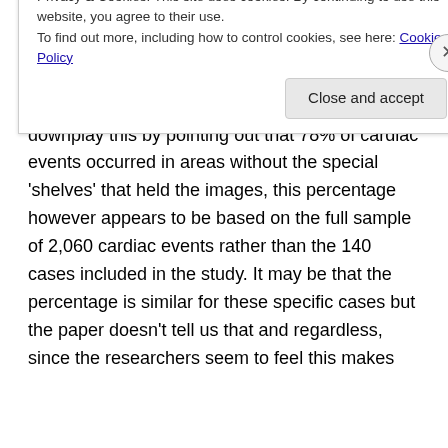abstract and quickly dismissed in one sentence in the discussion section, is that none of the 140 patients interviewed were able to identify a single hidden image. The paper tries to downplay this by pointing out that 78% of cardiac events occurred in areas without the special 'shelves' that held the images, this percentage however appears to be based on the full sample of 2,060 cardiac events rather than the 140 cases included in the study. It may be that the percentage is similar for these specific cases but the paper doesn't tell us that and regardless, since the researchers seem to feel this makes
Privacy & Cookies: This site uses cookies. By continuing to use this website, you agree to their use.
To find out more, including how to control cookies, see here: Cookie Policy